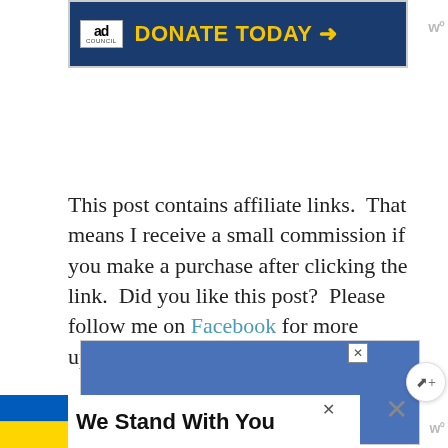[Figure (screenshot): Ad Council banner ad with dark blue background, 'ad council' logo in white box on left, 'DONATE TODAY →' in bold yellow text on right]
This post contains affiliate links.  That means I receive a small commission if you make a purchase after clicking the link.  Did you like this post?  Please follow me on Facebook for more updates!
[Figure (screenshot): Blue rectangle advertisement banner]
[Figure (screenshot): Ukraine support banner: Ukrainian flag (blue and yellow) with text 'We Stand With You']